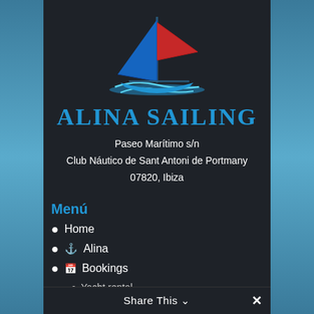[Figure (logo): Alina Sailing logo: a sailboat with blue and red sails on a dark background]
Alina Sailing
Paseo Marítimo s/n
Club Náutico de Sant Antoni de Portmany
07820, Ibiza
Menú
Home
⚓ Alina
📅 Bookings
Yacht rental
Events
Share This ∨  ✕